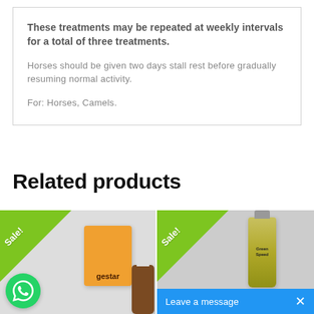These treatments may be repeated at weekly intervals for a total of three treatments.
Horses should be given two days stall rest before gradually resuming normal activity.
For: Horses, Camels.
Related products
[Figure (photo): Product card showing 'gestar' orange box and brown bottle, with a green 'Sale!' ribbon banner in the top-left corner and a WhatsApp icon in the bottom-left.]
[Figure (photo): Product card showing 'Green Speed' olive oil bottle, with a green 'Sale!' ribbon banner in the top-left corner and a blue 'Leave a message' bar with X close button at the bottom.]